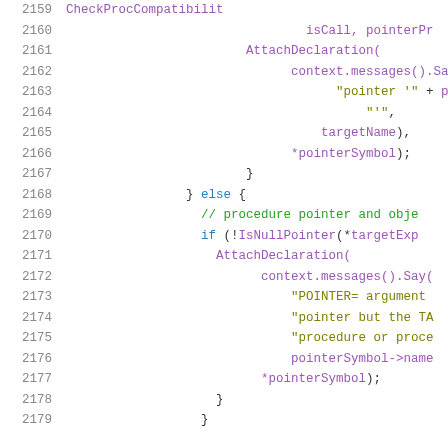[Figure (screenshot): Source code listing showing lines 2159-2179 of a C++ or similar language file, displaying code related to procedure pointer and object handling with AttachDeclaration, context.messages().Say, and IsNullPointer calls.]